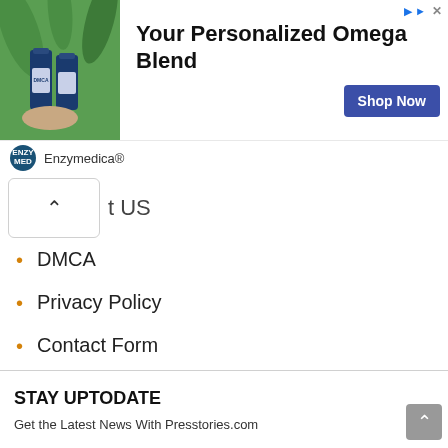[Figure (infographic): Advertisement banner: photo of supplement bottles with green plants background, headline 'Your Personalized Omega Blend', 'Shop Now' button, Enzymedica brand logo and name]
↑ US
DMCA
Privacy Policy
Contact Form
STAY UPTODATE
Get the Latest News With Presstories.com